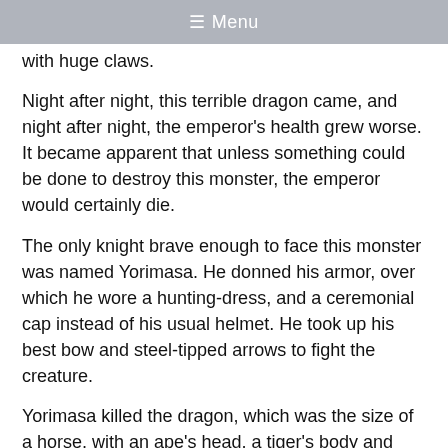≡ Menu
with huge claws.
Night after night, this terrible dragon came, and night after night, the emperor's health grew worse. It became apparent that unless something could be done to destroy this monster, the emperor would certainly die.
The only knight brave enough to face this monster was named Yorimasa. He donned his armor, over which he wore a hunting-dress, and a ceremonial cap instead of his usual helmet. He took up his best bow and steel-tipped arrows to fight the creature.
Yorimasa killed the dragon, which was the size of a horse, with an ape's head, a tiger's body and claws, a serpent's tail, a bird's wings, and a dragon's scales.
From the very moment the creature died, the